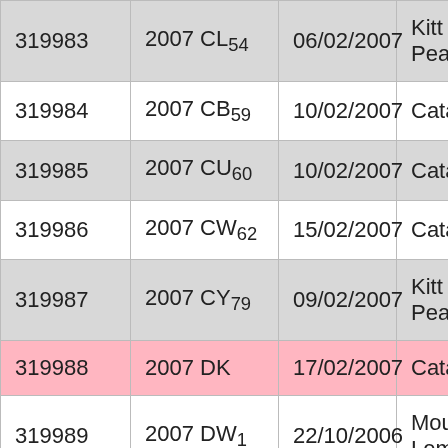| 319983 | 2007 CL54 | 06/02/2007 | Kitt Peak |
| 319984 | 2007 CB59 | 10/02/2007 | Catalina |
| 319985 | 2007 CU60 | 10/02/2007 | Catalina |
| 319986 | 2007 CW62 | 15/02/2007 | Catalina |
| 319987 | 2007 CY79 | 09/02/2007 | Kitt Peak |
| 319988 | 2007 DK | 17/02/2007 | Catalina |
| 319989 | 2007 DW1 | 22/10/2006 | Mount Lemmon |